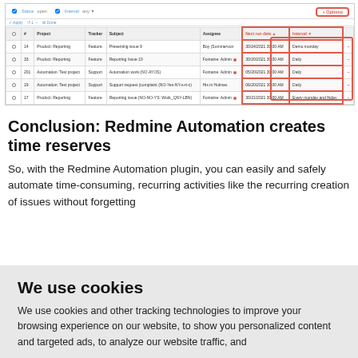[Figure (screenshot): Redmine issue tracker screenshot showing a filtered list of recurring issues with columns for #, Project, Tracker, Subject, Assignee, Next run date, and Interval. Two rightmost columns (Next run date, Interval) are highlighted with a red border. A red-outlined button appears top-right.]
Conclusion: Redmine Automation creates time reserves
So, with the Redmine Automation plugin, you can easily and safely automate time-consuming, recurring activities like the recurring creation of issues without forgetting
We use cookies
We use cookies and other tracking technologies to improve your browsing experience on our website, to show you personalized content and targeted ads, to analyze our website traffic, and